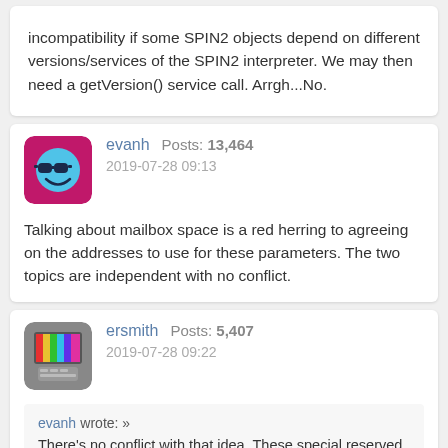incompatibility if some SPIN2 objects depend on different versions/services of the SPIN2 interpreter. We may then need a getVersion() service call. Arrgh...No.
evanh  Posts: 13,464  2019-07-28 09:13
Talking about mailbox space is a red herring to agreeing on the addresses to use for these parameters. The two topics are independent with no conflict.
ersmith  Posts: 5,407  2019-07-28 09:22
evanh wrote: » There's no conflict with that idea. These special reserved locations are really only reserved for the